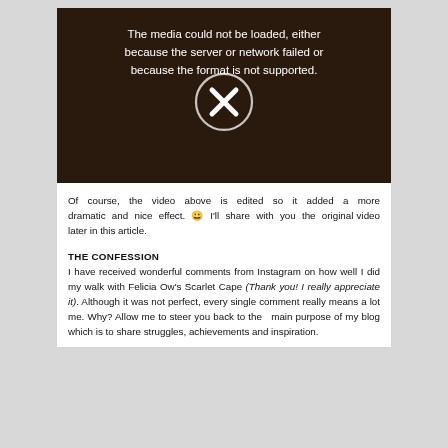[Figure (screenshot): Video player showing a dark background with a fashion show scene. Text overlay reads: 'The media could not be loaded, either because the server or network failed or because the format is not supported.' A play button with an X icon is shown in the center.]
Of course, the video above is edited so it added a more dramatic and nice effect. 😀 I'll share with you the original video later in this article.
THE CONFESSION
I have received wonderful comments from Instagram on how well I did my walk with Felicia Ow's Scarlet Cape (Thank you! I really appreciate it). Although it was not perfect, every single comment really means a lot me. Why? Allow me to steer you back to the  main purpose of my blog which is to share struggles, achievements and inspiration.